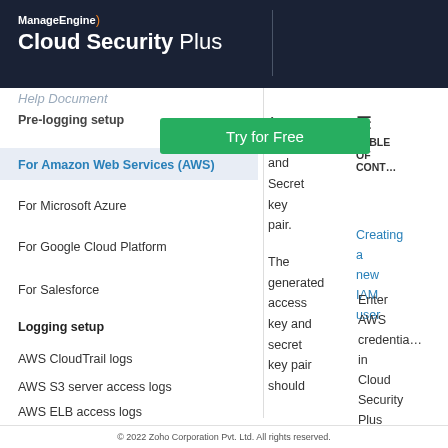ManageEngine Cloud Security Plus Help Document
Try for Free
Pre-logging setup
For Amazon Web Services (AWS)
For Microsoft Azure
For Google Cloud Platform
For Salesforce
Logging setup
AWS CloudTrail logs
AWS S3 server access logs
AWS ELB access logs
Azure activity logs
Access key and Secret key pair.
TABLE OF CONTENT
Creating a new IAM user
The generated access key and secret key pair should
Enter AWS credentials in Cloud Security Plus
© 2022 Zoho Corporation Pvt. Ltd. All rights reserved.